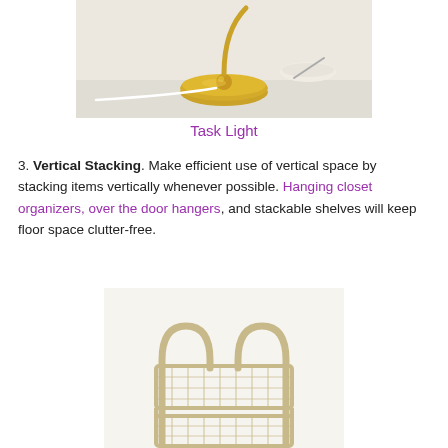[Figure (photo): Close-up photo of a gold/brass task lamp base with a white cord, and a small dish in the background on a white surface.]
Task Light
3. Vertical Stacking. Make efficient use of vertical space by stacking items vertically whenever possible. Hanging closet organizers, over the door hangers, and stackable shelves will keep floor space clutter-free.
[Figure (photo): Photo of a two-tier metal wire basket shelf/organizer in a champagne/gold finish with two arched handles, standing on a white background.]